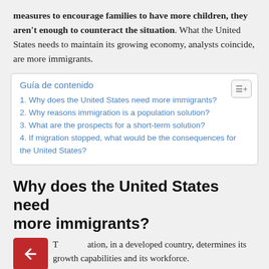measures to encourage families to have more children, they aren't enough to counteract the situation. What the United States needs to maintain its growing economy, analysts coincide, are more immigrants.
Guía de contenido
1. Why does the United States need more immigrants?
2. Why reasons immigration is a population solution?
3. What are the prospects for a short-term solution?
4. If migration stopped, what would be the consequences for the United States?
Why does the United States need more immigrants?
The population, in a developed country, determines its growth capabilities and its workforce.